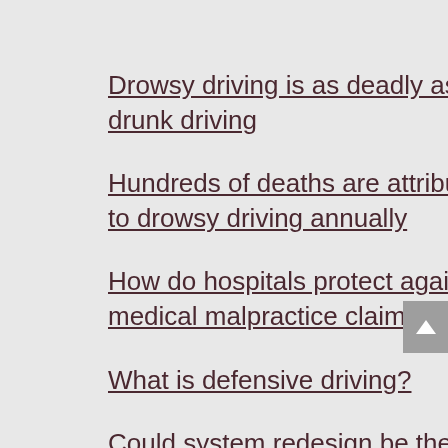Drowsy driving is as deadly as drunk driving
Hundreds of deaths are attributed to drowsy driving annually
How do hospitals protect against medical malpractice claims?
What is defensive driving?
Could system redesign be the key to reducing medical malpractice?